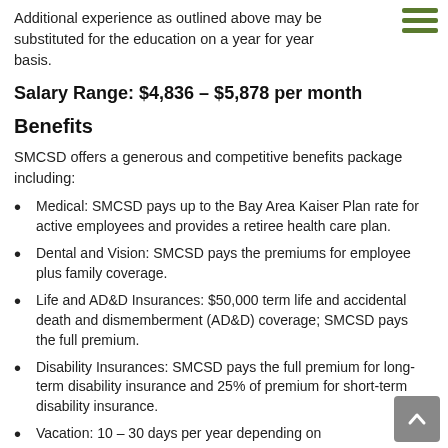Additional experience as outlined above may be substituted for the education on a year for year basis.
Salary Range: $4,836 – $5,878 per month
Benefits
SMCSD offers a generous and competitive benefits package including:
Medical: SMCSD pays up to the Bay Area Kaiser Plan rate for active employees and provides a retiree health care plan.
Dental and Vision: SMCSD pays the premiums for employee plus family coverage.
Life and AD&D Insurances: $50,000 term life and accidental death and dismemberment (AD&D) coverage; SMCSD pays the full premium.
Disability Insurances: SMCSD pays the full premium for long-term disability insurance and 25% of premium for short-term disability insurance.
Vacation: 10 – 30 days per year depending on